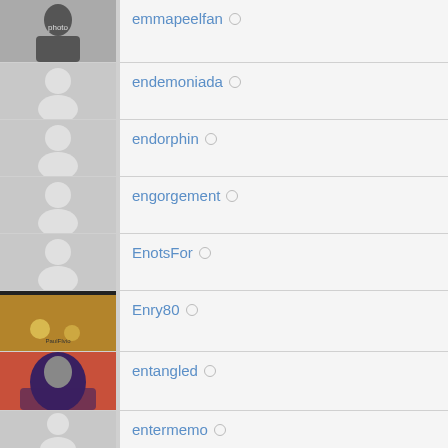emmapeelfan ○
endemoniada ○
endorphin ○
engorgement ○
EnotsFor ○
Enry80 ○
entangled ○
entermemo ○